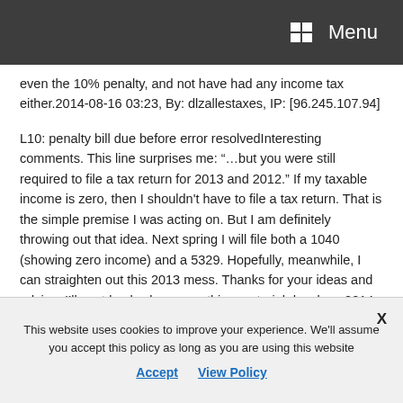Menu
even the 10% penalty, and not have had any income tax either.2014-08-16 03:23, By: dlzallestaxes, IP: [96.245.107.94]
L10: penalty bill due before error resolvedInteresting comments. This line surprises me: “…but you were still required to file a tax return for 2013 and 2012.” If my taxable income is zero, then I shouldn't have to file a tax return. That is the simple premise I was acting on. But I am definitely throwing out that idea. Next spring I will file both a 1040 (showing zero income) and a 5329. Hopefully, meanwhile, I can straighten out this 2013 mess. Thanks for your ideas and advice. I’ll post back when something material develops 2014-08-17 06:01, By: Gimble Ron, IP:
This website uses cookies to improve your experience. We'll assume you accept this policy as long as you are using this website